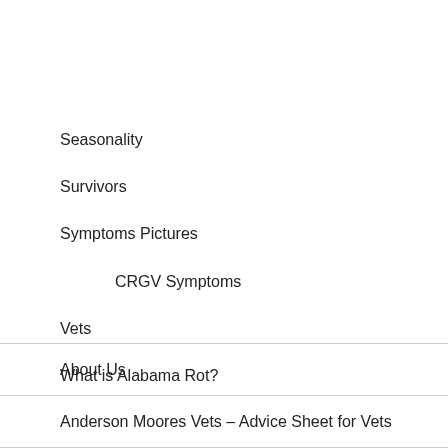Seasonality
Survivors
Symptoms Pictures
CRGV Symptoms
Vets
What is Alabama Rot?
About Us
Anderson Moores Vets – Advice Sheet for Vets